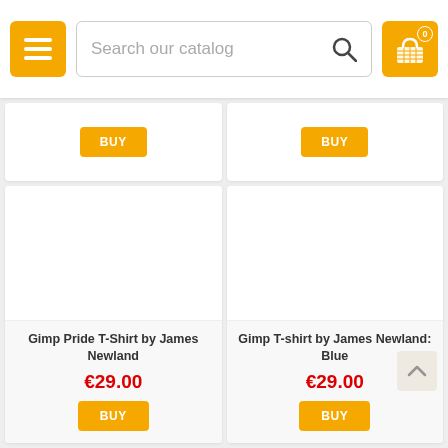[Figure (screenshot): E-commerce mobile app navigation bar with hamburger menu button (yellow), search bar reading 'Search our catalog', and shopping cart icon (yellow) with badge showing 0]
[Figure (screenshot): Partial product cards from top row showing yellow BUY buttons only]
Gimp Pride T-Shirt by James Newland
€29.00
BUY
Gimp T-shirt by James Newland: Blue
€29.00
BUY